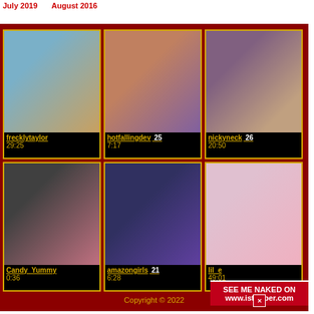July 2019    August 2016
[Figure (screenshot): Video grid of 6 adult webcam thumbnails with usernames, ages, and durations on dark red background]
Copyright © 2022